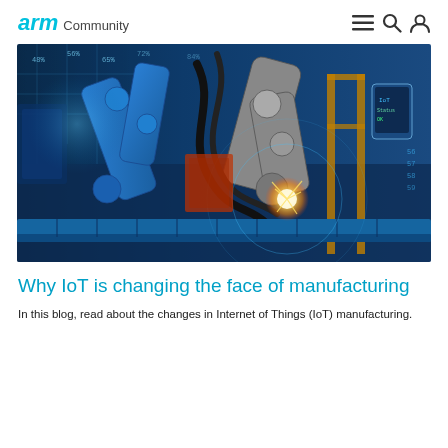arm Community
[Figure (photo): Industrial robots with blue robotic arms welding on a factory floor, overlaid with digital data visualization elements, sci-fi blue tones]
Why IoT is changing the face of manufacturing
In this blog, read about the changes in Internet of Things (IoT) manufacturing.